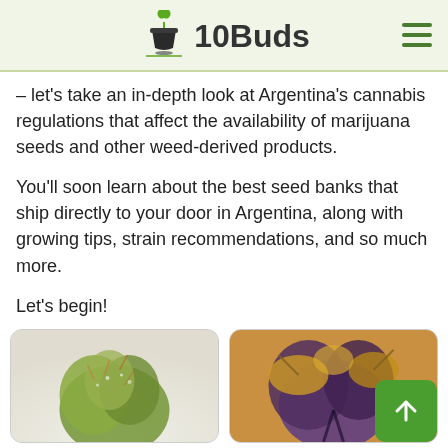10Buds
– let's take an in-depth look at Argentina's cannabis regulations that affect the availability of marijuana seeds and other weed-derived products.
You'll soon learn about the best seed banks that ship directly to your door in Argentina, along with growing tips, strain recommendations, and so much more.
Let's begin!
[Figure (photo): Close-up photo of a green cannabis bud]
[Figure (photo): Close-up photo of a purple and yellow cannabis bud]